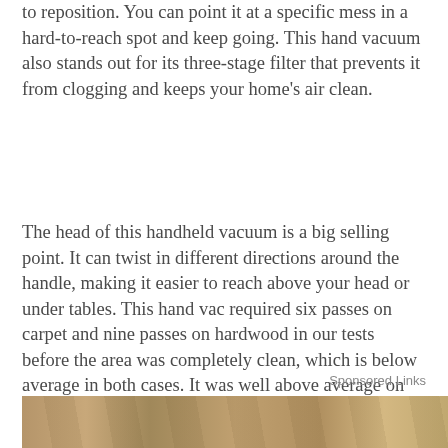to reposition. You can point it at a specific mess in a hard-to-reach spot and keep going. This hand vacuum also stands out for its three-stage filter that prevents it from clogging and keeps your home's air clean.
The head of this handheld vacuum is a big selling point. It can twist in different directions around the handle, making it easier to reach above your head or under tables. This hand vac required six passes on carpet and nine passes on hardwood in our tests before the area was completely clean, which is below average in both cases. It was well above average on our suction test for weight, though. It was able to suspend 16 ounces of screws for more than five seconds.
Sponsored Links
[Figure (photo): Bottom strip of a photo showing what appears to be a textured brown/tan surface, possibly fabric or wood grain.]